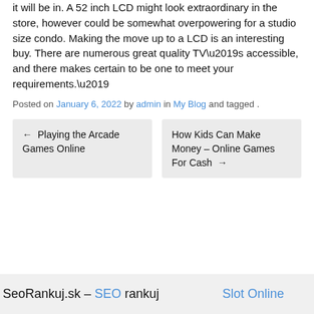it will be in. A 52 inch LCD might look extraordinary in the store, however could be somewhat overpowering for a studio size condo. Making the move up to a LCD is an interesting buy. There are numerous great quality TV’s accessible, and there makes certain to be one to meet your requirements.’
Posted on January 6, 2022 by admin in My Blog and tagged .
←  Playing the Arcade Games Online
How Kids Can Make Money – Online Games For Cash  →
SeoRankuj.sk – SEO rankuj    Slot Online